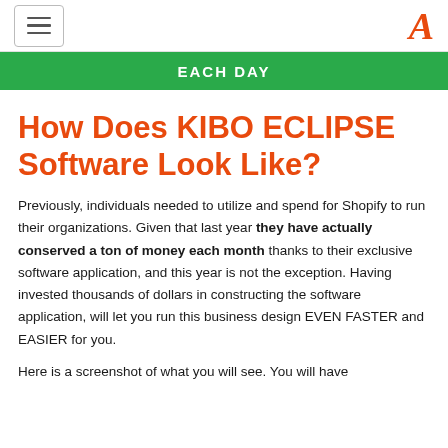≡  A
EACH DAY
How Does KIBO ECLIPSE Software Look Like?
Previously, individuals needed to utilize and spend for Shopify to run their organizations. Given that last year they have actually conserved a ton of money each month thanks to their exclusive software application, and this year is not the exception. Having invested thousands of dollars in constructing the software application, will let you run this business design EVEN FASTER and EASIER for you.
Here is a screenshot of what you will see. You will have